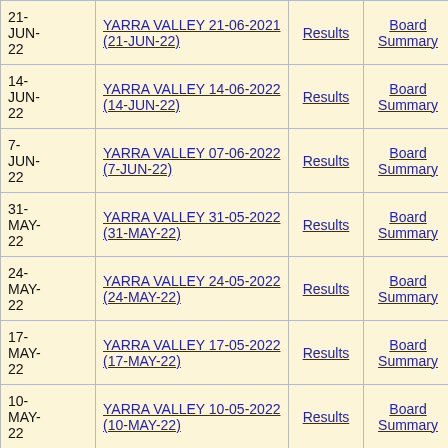| Date | Event | Results | Board Summary | Detailed Boards Analysis |
| --- | --- | --- | --- | --- |
| 21-JUN-22 | YARRA VALLEY 21-06-2021 (21-JUN-22) | Results | Board Summary | Detailed Boards Analysis |
| 14-JUN-22 | YARRA VALLEY 14-06-2022 (14-JUN-22) | Results | Board Summary | Detailed Boards Analysis |
| 7-JUN-22 | YARRA VALLEY 07-06-2022 (7-JUN-22) | Results | Board Summary | Detailed Boards Analysis |
| 31-MAY-22 | YARRA VALLEY 31-05-2022 (31-MAY-22) | Results | Board Summary | Detailed Boards Analysis |
| 24-MAY-22 | YARRA VALLEY 24-05-2022 (24-MAY-22) | Results | Board Summary | Detailed Boards Analysis |
| 17-MAY-22 | YARRA VALLEY 17-05-2022 (17-MAY-22) | Results | Board Summary | Detailed Boards Analysis |
| 10-MAY-22 | YARRA VALLEY 10-05-2022 (10-MAY-22) | Results | Board Summary | Detailed Boards Analysis |